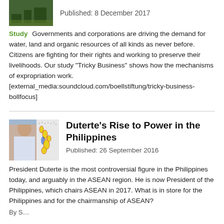[Figure (photo): Small thumbnail image of green/nature scene]
Published: 8 December 2017
Study   Governments and corporations are driving the demand for water, land and organic resources of all kinds as never before. Citizens are fighting for their rights and working to preserve their livelihoods. Our study "Tricky Business" shows how the mechanisms of expropriation work. [external_media:soundcloud.com/boellstiftung/tricky-business-bollfocus]
[Figure (photo): Portrait photo of President Duterte alongside a map of the Philippines]
Duterte's Rise to Power in the Philippines
Published: 26 September 2016
President Duterte is the most controversial figure in the Philippines today, and arguably in the ASEAN region. He is now President of the Philippines, which chairs ASEAN in 2017. What is in store for the Philippines and for the chairmanship of ASEAN?